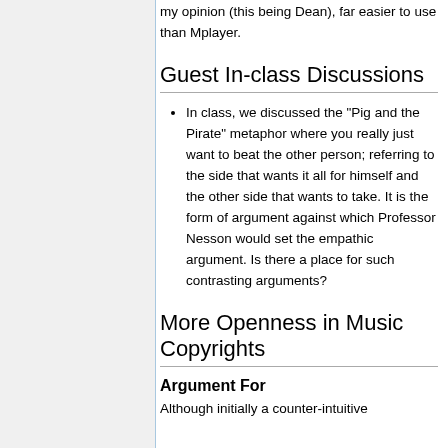my opinion (this being Dean), far easier to use than Mplayer.
Guest In-class Discussions
In class, we discussed the "Pig and the Pirate" metaphor where you really just want to beat the other person; referring to the side that wants it all for himself and the other side that wants to take. It is the form of argument against which Professor Nesson would set the empathic argument. Is there a place for such contrasting arguments?
More Openness in Music Copyrights
Argument For
Although initially a counter-intuitive